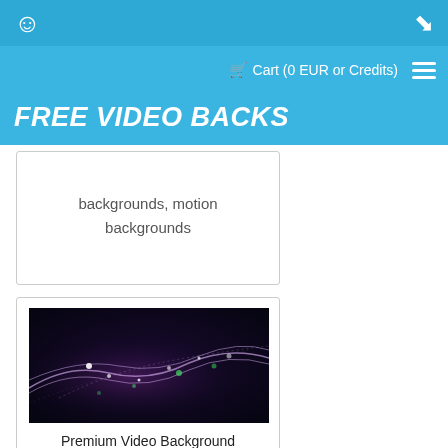user icon | login icon
Cart (0 EUR or Credits)
FREE VIDEO BACKS
backgrounds, motion backgrounds
[Figure (photo): Purple and teal abstract particle wave motion background video thumbnail]
Premium Video Background HD1647